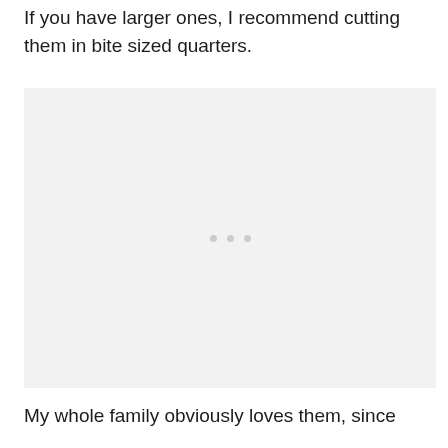If you have larger ones, I recommend cutting them in bite sized quarters.
[Figure (photo): A light gray placeholder image block with three small gray dots in the center, indicating an image that has not loaded.]
My whole family obviously loves them, since